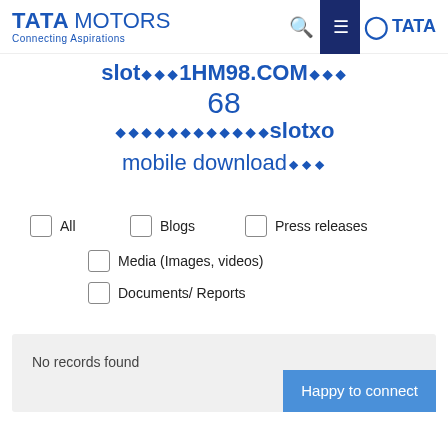[Figure (logo): Tata Motors logo with 'Connecting Aspirations' tagline, search icon, hamburger menu on dark navy background, and Tata group logo on the right]
slot◆◆◆1HM98.COM◆◆◆
68
◆◆◆◆◆◆◆◆◆◆◆◆slotxo mobile download◆◆◆
All
Blogs
Press releases
Media (Images, videos)
Documents/ Reports
No records found
Happy to connect